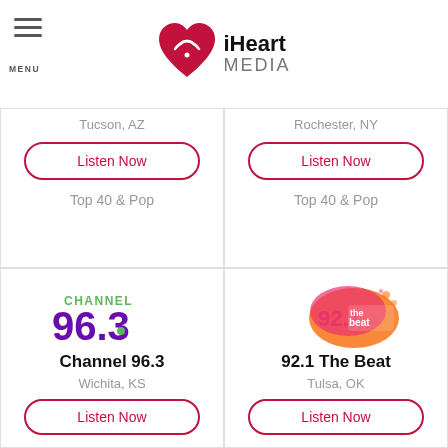iHeart MEDIA
[Figure (logo): iHeartMedia logo with red heart and radio waves icon]
Tucson, AZ
Listen Now
Top 40 & Pop
Rochester, NY
Listen Now
Top 40 & Pop
[Figure (logo): Channel 96.3 logo - green and purple text]
Channel 96.3
Wichita, KS
Listen Now
[Figure (logo): 92.1 The Beat logo - pink/orange splash]
92.1 The Beat
Tulsa, OK
Listen Now